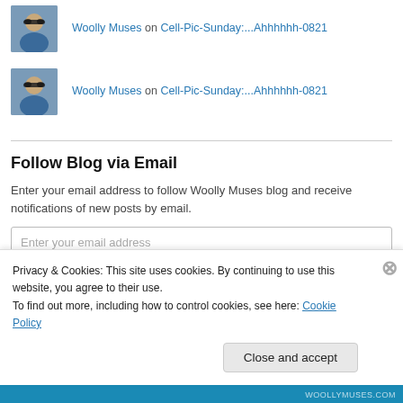[Figure (photo): Avatar photo of Woolly Muses (man with sunglasses), partially cropped at top]
Woolly Muses on Cell-Pic-Sunday:...Ahhhhhh-0821
[Figure (photo): Avatar photo of Woolly Muses (man with sunglasses)]
Woolly Muses on Cell-Pic-Sunday:...Ahhhhhh-0821
Follow Blog via Email
Enter your email address to follow Woolly Muses blog and receive notifications of new posts by email.
Enter your email address
Privacy & Cookies: This site uses cookies. By continuing to use this website, you agree to their use.
To find out more, including how to control cookies, see here: Cookie Policy
Close and accept